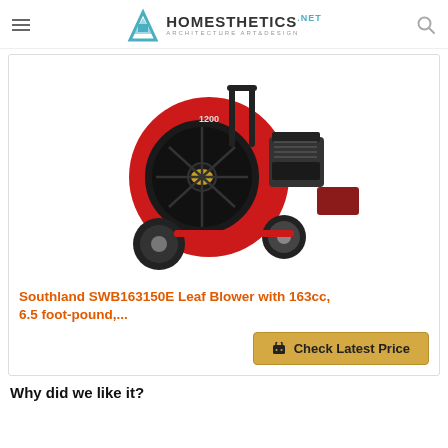HOMESTHETICS ARCHITECTURE ART&DESIGN
[Figure (photo): A large red Southland SWB163150E walk-behind leaf blower with black fan housing, black handle bars, rubber wheels, and a red chute attachment, shown against a white background.]
Southland SWB163150E Leaf Blower with 163cc, 6.5 foot-pound,...
Check Latest Price
Why did we like it?